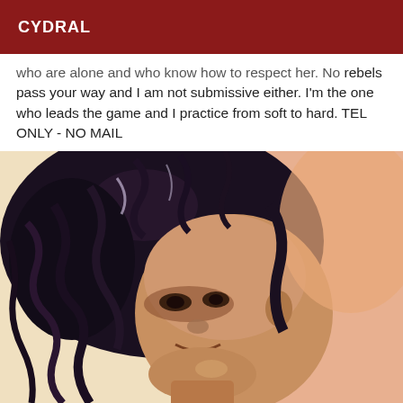CYDRAL
who are alone and who know how to respect her. No rebels pass your way and I am not submissive either. I'm the one who leads the game and I practice from soft to hard. TEL ONLY - NO MAIL
[Figure (photo): Close-up photo of a person with curly dark hair, looking sideways with a slight smile, warm tones.]